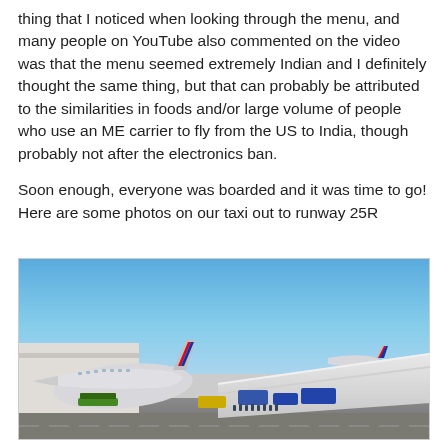thing that I noticed when looking through the menu, and many people on YouTube also commented on the video was that the menu seemed extremely Indian and I definitely thought the same thing, but that can probably be attributed to the similarities in foods and/or large volume of people who use an ME carrier to fly from the US to India, though probably not after the electronics ban.
Soon enough, everyone was boarded and it was time to go! Here are some photos on our taxi out to runway 25R
[Figure (photo): Airport tarmac photo taken from inside an aircraft looking out over the wing. An American Airlines plane is visible on the left with tail fins showing the red/blue livery. Ground service vehicles and equipment surround the planes. Clear blue sky in the background.]